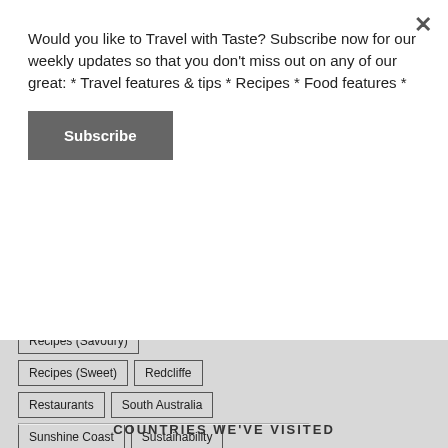Would you like to Travel with Taste? Subscribe now for our weekly updates so that you don't miss out on any of our great: * Travel features & tips * Recipes * Food features *
Subscribe
Recipes (Savoury)
Recipes (Sweet)
Redcliffe
Restaurants
South Australia
Sunshine Coast
Sustainability
Sydney
Top Experiences
Wine
Wine Reviews
COUNTRIES WE'VE VISITED